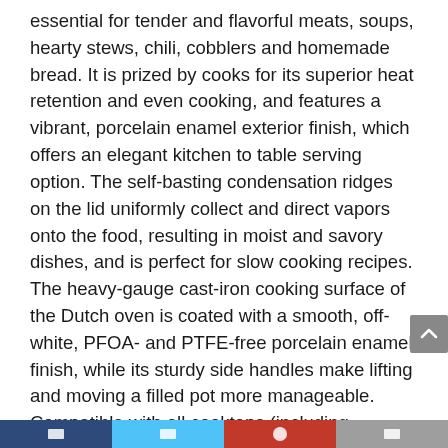essential for tender and flavorful meats, soups, hearty stews, chili, cobblers and homemade bread. It is prized by cooks for its superior heat retention and even cooking, and features a vibrant, porcelain enamel exterior finish, which offers an elegant kitchen to table serving option. The self-basting condensation ridges on the lid uniformly collect and direct vapors onto the food, resulting in moist and savory dishes, and is perfect for slow cooking recipes. The heavy-gauge cast-iron cooking surface of the Dutch oven is coated with a smooth, off-white, PFOA- and PTFE-free porcelain enamel finish, while its sturdy side handles make lifting and moving a filled pot more manageable. Compatible with all cooktops (including induction), this Dutch Oven features a cast stainless steel knob, making it oven-safe up to 450 F / 232 C. Tramontina’s Enameled Cast-Iron Round Dutch Oven is engineered and manufactured with the finest design,
[Figure (other): Social media sharing toolbar at bottom with dark blue, light blue, red, and gray segments containing white icons]